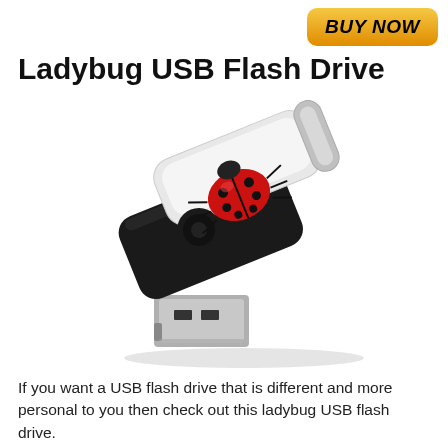[Figure (other): BUY NOW button with orange/gold gradient background and bold italic black text]
Ladybug USB Flash Drive
[Figure (illustration): A black swivel USB flash drive with a white cap showing a ladybug illustration. The USB connector is visible at the bottom.]
If you want a USB flash drive that is different and more personal to you then check out this ladybug USB flash drive.